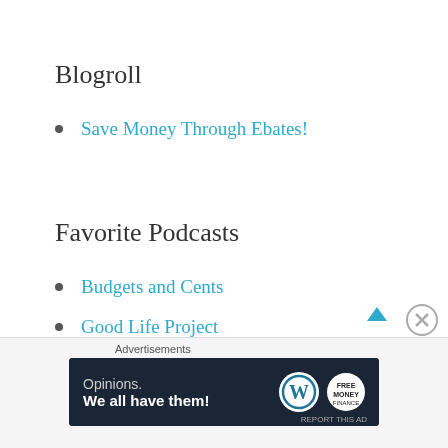Blogroll
Save Money Through Ebates!
Favorite Podcasts
Budgets and Cents
Good Life Project
Listen Money Matters
Advertisements
[Figure (infographic): Advertisement banner: Opinions. We all have them! with WordPress and another logo on dark navy background.]